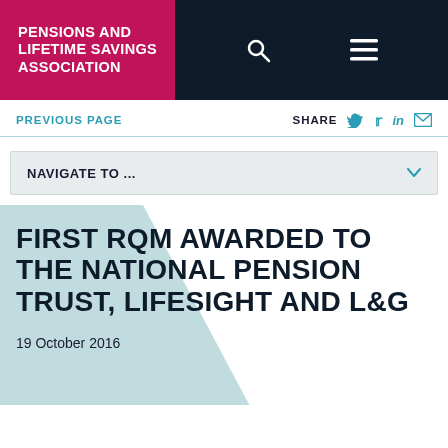PENSIONS AND LIFETIME SAVINGS ASSOCIATION
PREVIOUS PAGE
SHARE
NAVIGATE TO ...
FIRST RQM AWARDED TO THE NATIONAL PENSION TRUST, LIFESIGHT AND L&G
19 October 2016